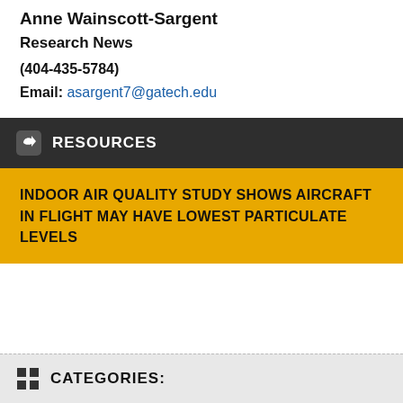Anne Wainscott-Sargent
Research News
(404-435-5784)
Email: asargent7@gatech.edu
RESOURCES
INDOOR AIR QUALITY STUDY SHOWS AIRCRAFT IN FLIGHT MAY HAVE LOWEST PARTICULATE LEVELS
CATEGORIES: